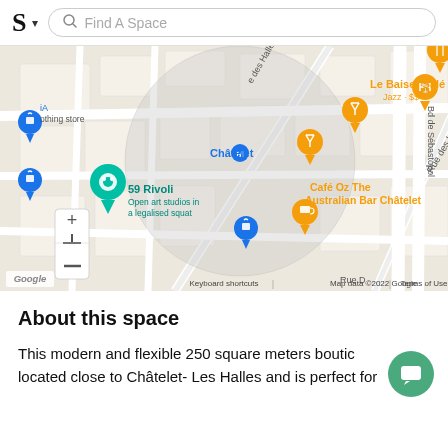S · Find A Space
[Figure (map): Google Maps screenshot showing the Châtelet area in Paris. Visible landmarks include Châtelet metro station, 59 Rivoli (Open art studios in a legalised squat), Le Baiser Salé (Jazz ·$$), Café Oz The Australian Bar Châtelet, street names including Rue des Halles, e des Halles, Bd de Sébastopol. A gray circle highlights the central area around Châtelet. Map footer shows: Keyboard shortcuts | Map data ©2022 Google | Terms of Use]
About this space
This modern and flexible 250 square meters boutique located close to Châtelet- Les Halles and is perfect for